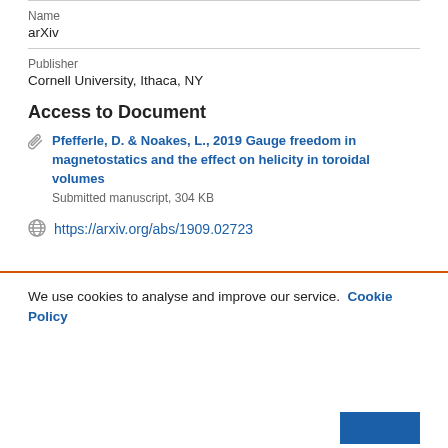Name
arXiv
Publisher
Cornell University, Ithaca, NY
Access to Document
Pfefferle, D. & Noakes, L., 2019 Gauge freedom in magnetostatics and the effect on helicity in toroidal volumes
Submitted manuscript, 304 KB
https://arxiv.org/abs/1909.02723
We use cookies to analyse and improve our service. Cookie Policy